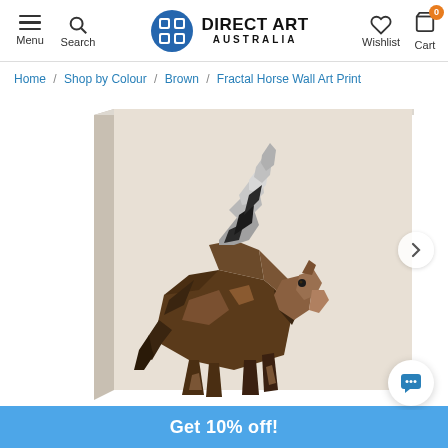Menu | Search | DIRECT ART AUSTRALIA | Wishlist | Cart 0
Home / Shop by Colour / Brown / Fractal Horse Wall Art Print
[Figure (photo): A canvas print showing a polygonal/fractal geometric horse in dark brown and black tones, galloping, on a beige/cream background. The canvas is shown at an angle with visible side depth.]
Get 10% off!